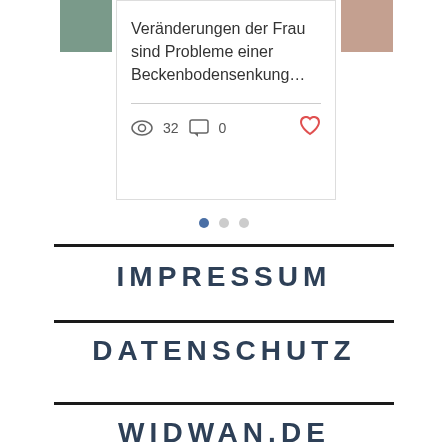[Figure (screenshot): Blog post card showing text 'Veränderungen der Frau sind Probleme einer Beckenbodensenkung...' with view count 32, comment count 0, and a heart/like icon. Thumbnail images visible on left and right sides of the card. Three dot navigation indicators below.]
IMPRESSUM
DATENSCHUTZ
WIDWAN.DE